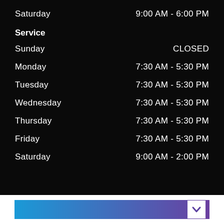Saturday   9:00 AM - 6:00 PM
Service
Sunday   CLOSED
Monday   7:30 AM - 5:30 PM
Tuesday   7:30 AM - 5:30 PM
Wednesday   7:30 AM - 5:30 PM
Thursday   7:30 AM - 5:30 PM
Friday   7:30 AM - 5:30 PM
Saturday   9:00 AM - 2:00 PM